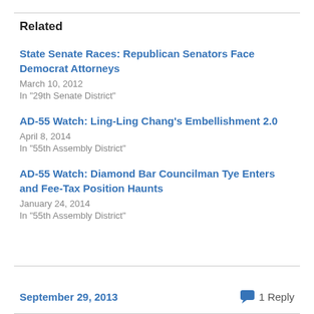Related
State Senate Races: Republican Senators Face Democrat Attorneys
March 10, 2012
In "29th Senate District"
AD-55 Watch: Ling-Ling Chang's Embellishment 2.0
April 8, 2014
In "55th Assembly District"
AD-55 Watch: Diamond Bar Councilman Tye Enters and Fee-Tax Position Haunts
January 24, 2014
In "55th Assembly District"
September 29, 2013
1 Reply